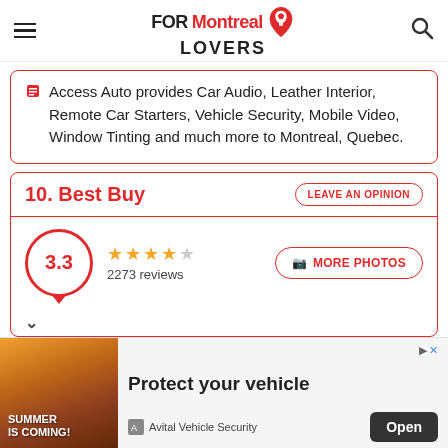FOR Montreal LOVERS
Access Auto provides Car Audio, Leather Interior, Remote Car Starters, Vehicle Security, Mobile Video, Window Tinting and much more to Montreal, Quebec.
10. Best Buy
LEAVE AN OPINION
3.3 — 2273 reviews — MORE PHOTOS
[Figure (other): Advertisement banner: Summer Is Coming! Protect your vehicle. Avital Vehicle Security. Open button.]